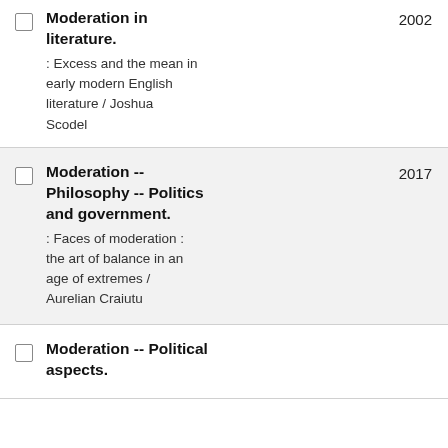Moderation in literature. : Excess and the mean in early modern English literature / Joshua Scodel — 2002
Moderation -- Philosophy -- Politics and government. : Faces of moderation : the art of balance in an age of extremes / Aurelian Craiutu — 2017
Moderation -- Political aspects.